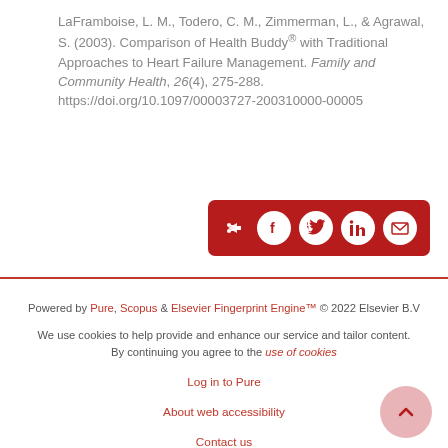LaFramboise, L. M., Todero, C. M., Zimmerman, L., & Agrawal, S. (2003). Comparison of Health Buddy® with Traditional Approaches to Heart Failure Management. Family and Community Health, 26(4), 275-288. https://doi.org/10.1097/00003727-200310000-00005
[Figure (other): Social share bar with icons for share, Facebook, Twitter, LinkedIn, and email on a dark red background]
Powered by Pure, Scopus & Elsevier Fingerprint Engine™ © 2022 Elsevier B.V
We use cookies to help provide and enhance our service and tailor content. By continuing you agree to the use of cookies
Log in to Pure
About web accessibility
Contact us